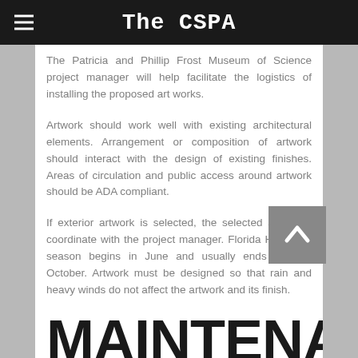The CSPA
The Patricia and Phillip Frost Museum of Science project manager will help facilitate the logistics of installing the proposed art works.
Artwork should work well with existing architectural elements. Arrangement or composition of artwork should interact with the design of existing finishes. Areas of circulation and public access around artwork should be ADA compliant.
If exterior artwork is selected, the selected artist will coordinate with the project manager. Florida Hurricane season begins in June and usually ends in Late October. Artwork must be designed so that rain and heavy winds do not affect the artwork and its finish.
MAINTENANCE AND